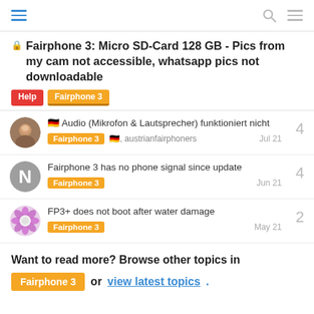Navigation header with menu, search, and hamburger icons
🔒 Fairphone 3: Micro SD-Card 128 GB - Pics from my cam not accessible, whatsapp pics not downloadable
Tag: Help
Tag: Fairphone 3
🇩🇪 Audio (Mikrofon & Lautsprecher) funktioniert nicht — Fairphone 3, 🇩🇪, austrianfairphoners — 4 replies — Jul 21
Fairphone 3 has no phone signal since update — Fairphone 3 — 4 replies — Jun 21
FP3+ does not boot after water damage — Fairphone 3 — 2 replies — May 21
Want to read more? Browse other topics in Fairphone 3 or view latest topics.